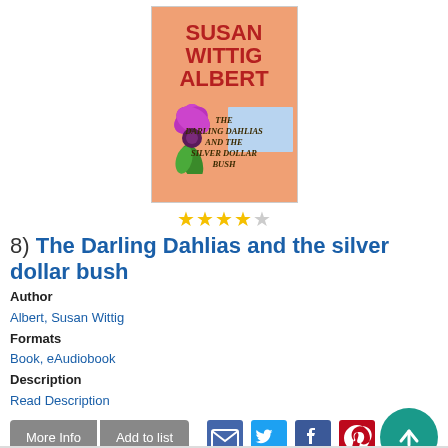[Figure (illustration): Book cover for 'The Darling Dahlias and the Silver Dollar Bush' by Susan Wittig Albert. Orange background with large red bold author name text, a purple flower graphic, a street scene, and the book title in serif italic font at the bottom.]
★★★★☆ (4 out of 5 stars rating)
8)  The Darling Dahlias and the silver dollar bush
Author
Albert, Susan Wittig
Formats
Book, eAudiobook
Description
Read Description
More Info   Add to list